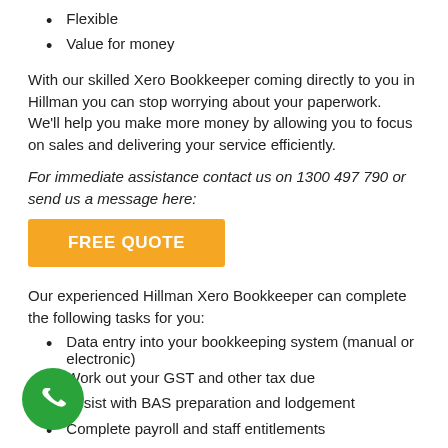Flexible
Value for money
With our skilled Xero Bookkeeper coming directly to you in Hillman you can stop worrying about your paperwork.  We'll help you make more money by allowing you to focus on sales and delivering your service efficiently.
For immediate assistance contact us on 1300 497 790 or send us a message here:
[Figure (other): Orange FREE QUOTE button]
Our experienced Hillman Xero Bookkeeper can complete the following tasks for you:
Data entry into your bookkeeping system (manual or electronic)
Work out your GST and other tax due
Assist with BAS preparation and lodgement
Complete payroll and staff entitlements
Complete accounts receivable
Complete accounts payable (help you to manage supplier payments)
[Figure (illustration): Green circular phone call button]